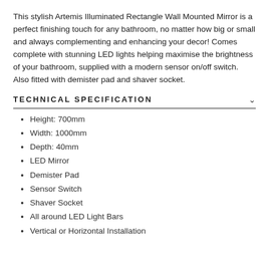This stylish Artemis Illuminated Rectangle Wall Mounted Mirror is a perfect finishing touch for any bathroom, no matter how big or small and always complementing and enhancing your decor! Comes complete with stunning LED lights helping maximise the brightness of your bathroom, supplied with a modern sensor on/off switch. Also fitted with demister pad and shaver socket.
TECHNICAL SPECIFICATION
Height: 700mm
Width: 1000mm
Depth: 40mm
LED Mirror
Demister Pad
Sensor Switch
Shaver Socket
All around LED Light Bars
Vertical or Horizontal Installation